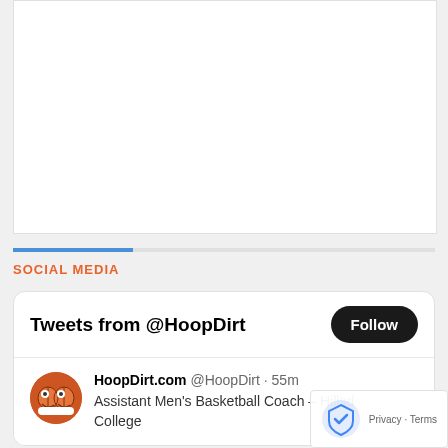[Figure (screenshot): White content box area at the top of the page, empty white background region]
SOCIAL MEDIA
Tweets from @HoopDirt
HoopDirt.com @HoopDirt · 55m
Assistant Men's Basketball Coach – Hillsdale College